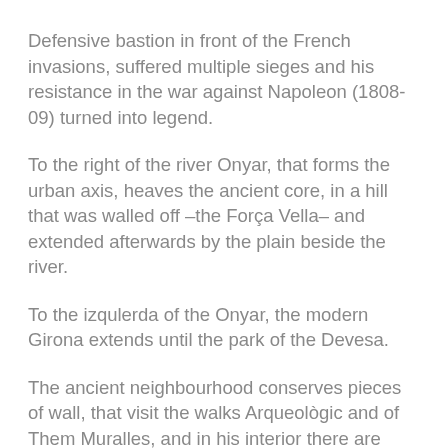Defensive bastion in front of the French invasions, suffered multiple sieges and his resistance in the war against Napoleon (1808-09) turned into legend.
To the right of the river Onyar, that forms the urban axis, heaves the ancient core, in a hill that was walled off –the Força Vella– and extended afterwards by the plain beside the river.
To the izqulerda of the Onyar, the modern Girona extends until the park of the Devesa.
The ancient neighbourhood conserves pieces of wall, that visit the walks Arqueològic and of Them Muralles, and in his interior there are buildings of